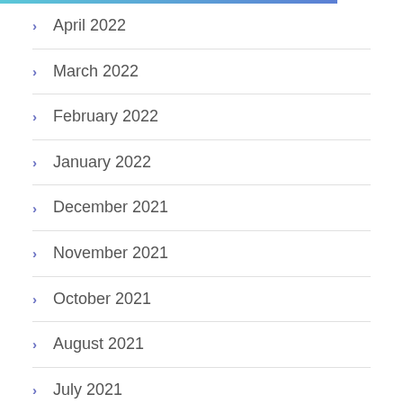April 2022
March 2022
February 2022
January 2022
December 2021
November 2021
October 2021
August 2021
July 2021